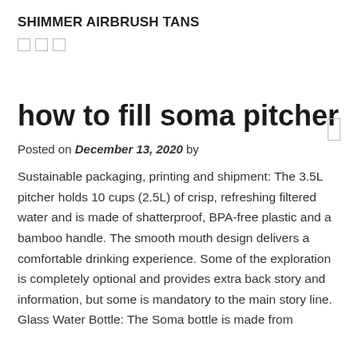SHIMMER AIRBRUSH TANS
how to fill soma pitcher
Posted on December 13, 2020 by
Sustainable packaging, printing and shipment: The 3.5L pitcher holds 10 cups (2.5L) of crisp, refreshing filtered water and is made of shatterproof, BPA-free plastic and a bamboo handle. The smooth mouth design delivers a comfortable drinking experience. Some of the exploration is completely optional and provides extra back story and information, but some is mandatory to the main story line. Glass Water Bottle: The Soma bottle is made from